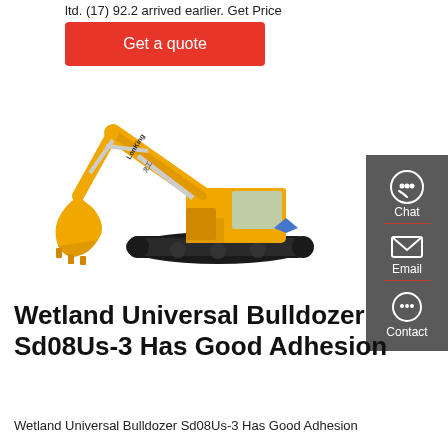ltd. (17) 92.2 arrived earlier. Get Price
Get a quote
[Figure (photo): Yellow Lonking excavator/crawler hydraulic excavator on white background, showing boom arm extended and bucket lowered, with black tracks]
[Figure (infographic): Dark gray sidebar with Chat (headset icon), Email (envelope icon), and Contact (speech bubble icon) buttons]
Wetland Universal Bulldozer Sd08Us-3 Has Good Adhesion
Wetland Universal Bulldozer Sd08Us-3 Has Good Adhesion